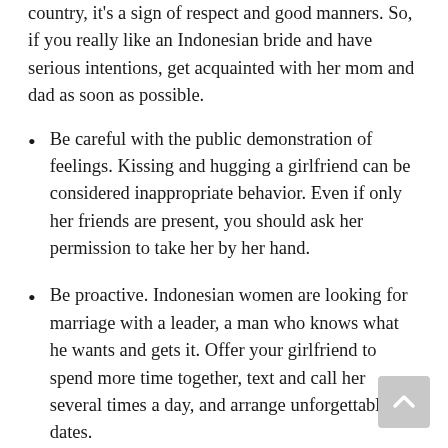country, it's a sign of respect and good manners. So, if you really like an Indonesian bride and have serious intentions, get acquainted with her mom and dad as soon as possible.
Be careful with the public demonstration of feelings. Kissing and hugging a girlfriend can be considered inappropriate behavior. Even if only her friends are present, you should ask her permission to take her by her hand.
Be proactive. Indonesian women are looking for marriage with a leader, a man who knows what he wants and gets it. Offer your girlfriend to spend more time together, text and call her several times a day, and arrange unforgettable dates.
A harmonic family life full of pleasant, romantic moments will wait for you with a local girl. Meet Indonesian ladies on a reliable dating platform and use the tips above to succeed when dating them!